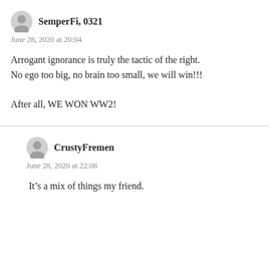SemperFi, 0321
June 28, 2020 at 20:04
Arrogant ignorance is truly the tactic of the right.
No ego too big, no brain too small, we will win!!!

After all, WE WON WW2!
CrustyFremen
June 28, 2020 at 22:08
It’s a mix of things my friend.